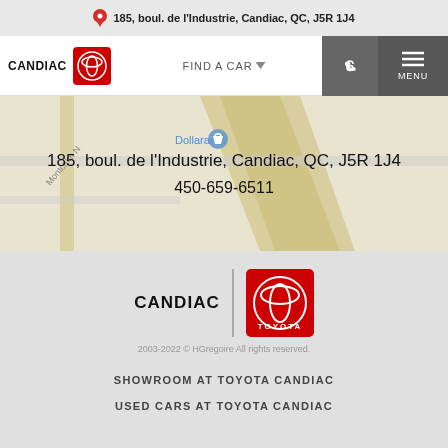185, boul. de l'Industrie, Candiac, QC, J5R 1J4
[Figure (screenshot): Navigation bar with CANDIAC Toyota logo, FIND A CAR dropdown, phone button, and MENU button]
[Figure (map): Map showing area near 185, boul. de l'Industrie, Candiac, QC with Dollarama marker visible]
185, boul. de l'Industrie, Candiac, QC, J5R 1J4
450-659-6511
[Figure (logo): CANDIAC TOYOTA logo with red Toyota emblem square]
2003-2022 © HGregoire All rights reserved.
SHOWROOM AT TOYOTA CANDIAC
USED CARS AT TOYOTA CANDIAC